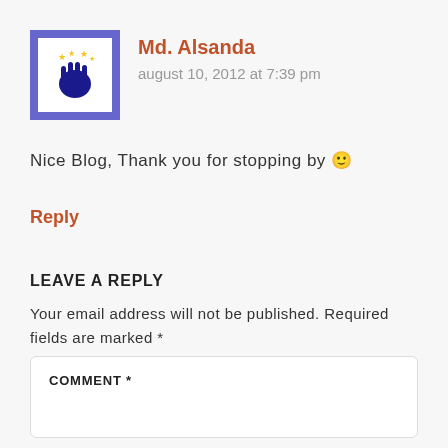[Figure (logo): UK National Lottery logo — blue hand with stars on white background inside a purple/blue square border]
Md. Alsanda
august 10, 2012 at 7:39 pm
Nice Blog, Thank you for stopping by 🙂
Reply
LEAVE A REPLY
Your email address will not be published. Required fields are marked *
COMMENT *